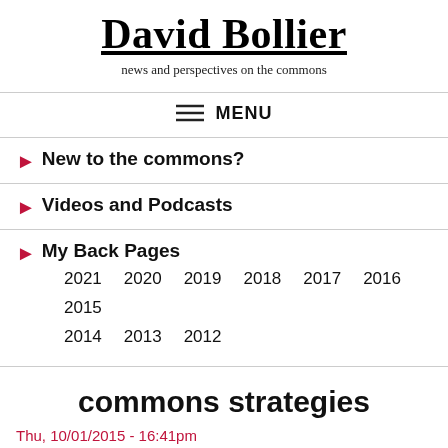David Bollier
news and perspectives on the commons
≡ MENU
New to the commons?
Videos and Podcasts
My Back Pages
2021 2020 2019 2018 2017 2016 2015
2014 2013 2012
commons strategies
Thu, 10/01/2015 - 16:41pm